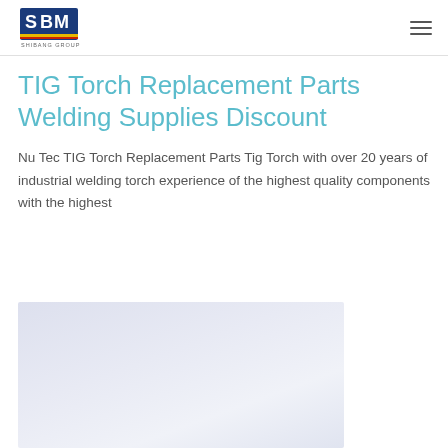SBM Shibang Group logo and navigation menu
TIG Torch Replacement Parts Welding Supplies Discount
Nu Tec TIG Torch Replacement Parts Tig Torch with over 20 years of industrial welding torch experience of the highest quality components with the highest
[Figure (photo): Light blue/white faded image area, partially visible at the bottom of the page, likely showing welding torch parts or equipment]